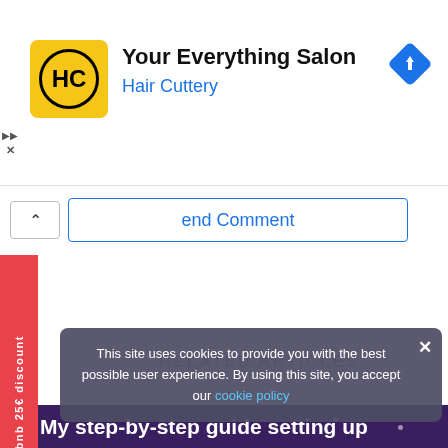[Figure (logo): Hair Cuttery advertisement banner with HC logo in yellow circle, text 'Your Everything Salon' and 'Hair Cuttery' in blue, navigation arrow icon top right]
end Comment
[Figure (infographic): Airbnb 25€ discount red vertical sidebar tab on left edge]
RELATED ARTICLES
This site uses cookies to provide you with the best possible user experience. By using this site, you accept our cookie policy
My step-by-step guide setting up